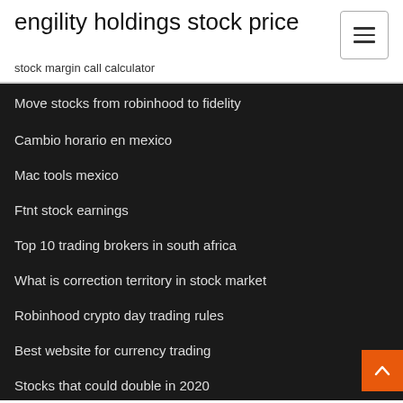engility holdings stock price
stock margin call calculator
Move stocks from robinhood to fidelity
Cambio horario en mexico
Mac tools mexico
Ftnt stock earnings
Top 10 trading brokers in south africa
What is correction territory in stock market
Robinhood crypto day trading rules
Best website for currency trading
Stocks that could double in 2020
Stock market rss feed url